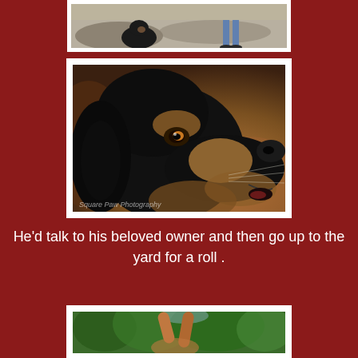[Figure (photo): Partial top view of a black and tan dog sitting outdoors on a paved surface with a person standing nearby, cropped at top edge]
[Figure (photo): Close-up portrait of a black and tan dog (Rottweiler or similar breed) looking upward with mouth slightly open, photographed from below against a blurred background. Watermark text 'Square Paw Photography' visible at bottom left.]
He'd talk to his beloved owner and then go up to the yard for a roll .
[Figure (photo): Partial bottom photo showing a dog rolling or playing in a yard with green trees in background, cropped at bottom edge]